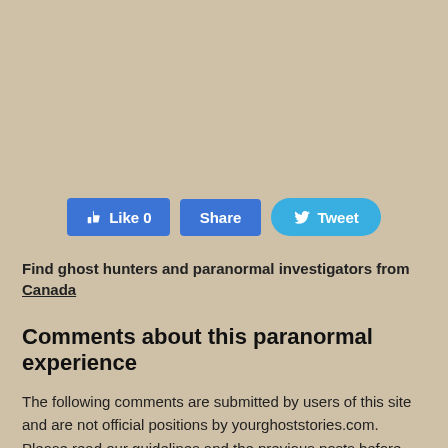[Figure (infographic): Social sharing buttons: Like 0 (Facebook blue), Share (Facebook blue), Tweet (Twitter blue/cyan)]
Find ghost hunters and paranormal investigators from Canada
Comments about this paranormal experience
The following comments are submitted by users of this site and are not official positions by yourghoststories.com. Please read our guidelines and the previous posts before posting. The author, MissMel25, has the following expectation about your feedback: I will read the comments and participate in the discussion.
Mrs_Davis27   11 years ago